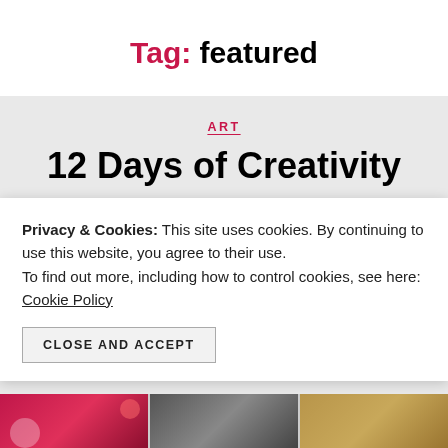Tag: featured
ART
12 Days of Creativity
By Cate   January 4, 2021   3 Comments
Privacy & Cookies: This site uses cookies. By continuing to use this website, you agree to their use.
To find out more, including how to control cookies, see here: Cookie Policy
CLOSE AND ACCEPT
[Figure (photo): Three thumbnail images at the bottom of the page showing craft/art items]